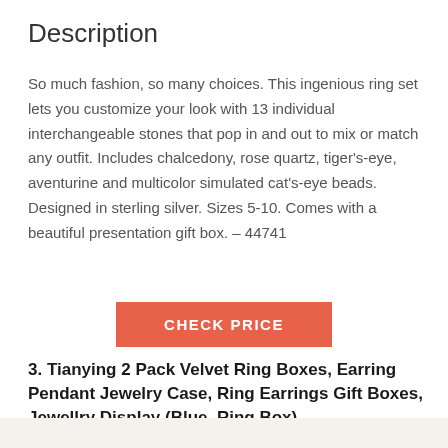Description
So much fashion, so many choices. This ingenious ring set lets you customize your look with 13 individual interchangeable stones that pop in and out to mix or match any outfit. Includes chalcedony, rose quartz, tiger's-eye, aventurine and multicolor simulated cat's-eye beads. Designed in sterling silver. Sizes 5-10. Comes with a beautiful presentation gift box. – 44741
CHECK PRICE
3. Tianying 2 Pack Velvet Ring Boxes, Earring Pendant Jewelry Case, Ring Earrings Gift Boxes, Jewellry Display (Blue, Ring Box)
[Figure (photo): Bottom edge of a product image, partially visible]